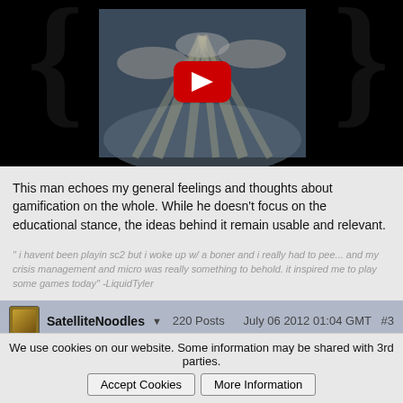[Figure (screenshot): YouTube video thumbnail embedded in a webpage, showing a sky with clouds and sunrays, with a red YouTube play button overlay. Curly braces decorations on left and right sides.]
This man echoes my general feelings and thoughts about gamification on the whole. While he doesn't focus on the educational stance, the ideas behind it remain usable and relevant.
" i havent been playin sc2 but i woke up w/ a boner and i really had to pee... and my crisis management and micro was really something to behold. it inspired me to play some games today" -LiquidTyler
SatelliteNoodles  220 Posts    July 06 2012 01:04 GMT  #3
Interesting, I didn't know about the term "gamification" until now.
We use cookies on our website. Some information may be shared with 3rd parties.  Accept Cookies  More Information